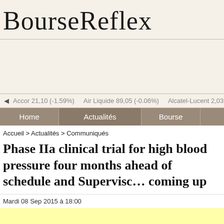BourseReflex
Accor 21,10 (-1.59%)  Air Liquide 89,05 (-0.06%)  Alcatel-Lucent 2,03 (2.78%)
Home  Actualités  Bourse
Accueil > Actualités > Communiqués
Phase IIa clinical trial for high blood pressure four months ahead of schedule and Supervisory Board coming up
Mardi 08 Sep 2015 à 18:00